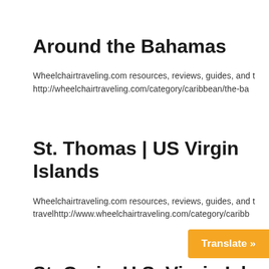Around the Bahamas
Wheelchairtraveling.com resources, reviews, guides, and t http://wheelchairtraveling.com/category/caribbean/the-ba
St. Thomas | US Virgin Islands
Wheelchairtraveling.com resources, reviews, guides, and t travelhttp://www.wheelchairtraveling.com/category/caribb
St. Croix, U.S. Virgin Isl